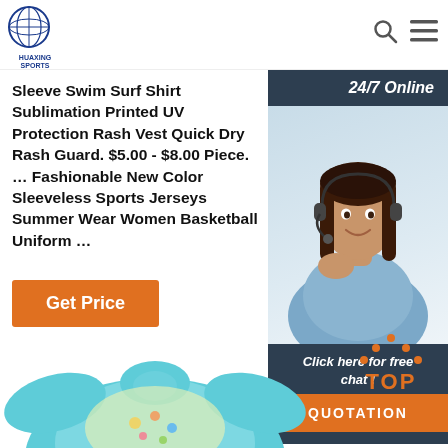[Figure (logo): Huaxing Sports logo — circular blue emblem with globe/wing motif]
Sleeve Swim Surf Shirt Sublimation Printed UV Protection Rash Vest Quick Dry Rash Guard. $5.00 - $8.00 Piece. … Fashionable New Color Sleeveless Sports Jerseys Summer Wear Women Basketball Uniform …
Get Price
24/7 Online
[Figure (photo): Customer service woman with headset smiling]
Click here for free chat !
QUOTATION
[Figure (illustration): TOP button with orange dots forming upward arrow and orange TOP text]
[Figure (photo): Baby swim vest product in light blue color, partially visible at bottom of page]